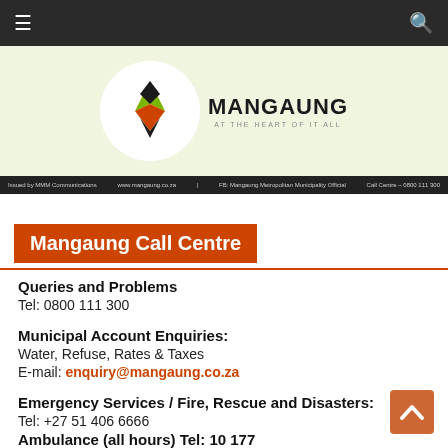☰  🔍
[Figure (logo): Mangaung Metropolitan Municipality logo — stylized arrow/leaf design above text 'MANGAUNG AT THE HEART OF IT ALL']
Issued by MMM Communications | www.mangaung.co.za | FB: Mangaung Metropolitan Municipality Official | Call Centre – 0800 111 300
Mangaung Call Centre
Queries and Problems
Tel: 0800 111 300
Municipal Account Enquiries:
Water, Refuse, Rates & Taxes
E-mail: enquiry@mangaung.co.za
Emergency Services / Fire, Rescue and Disasters:
Tel: +27 51 406 6666
Ambulance (all hours) Tel: 10 177